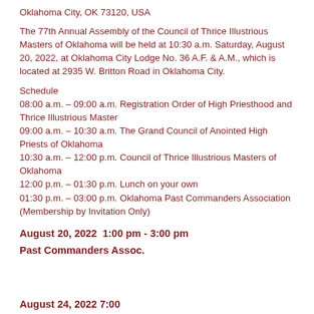Oklahoma City, OK 73120, USA
The 77th Annual Assembly of the Council of Thrice Illustrious Masters of Oklahoma will be held at 10:30 a.m. Saturday, August 20, 2022, at Oklahoma City Lodge No. 36 A.F. & A.M., which is located at 2935 W. Britton Road in Oklahoma City.
Schedule
08:00 a.m. – 09:00 a.m. Registration Order of High Priesthood and Thrice Illustrious Master
09:00 a.m. – 10:30 a.m. The Grand Council of Anointed High Priests of Oklahoma
10:30 a.m. – 12:00 p.m. Council of Thrice Illustrious Masters of Oklahoma
12:00 p.m. – 01:30 p.m. Lunch on your own
01:30 p.m. – 03:00 p.m. Oklahoma Past Commanders Association (Membership by Invitation Only)
August 20, 2022  1:00 pm - 3:00 pm
Past Commanders Assoc.
August 24, 2022  7:00 ... - 10:30 ...